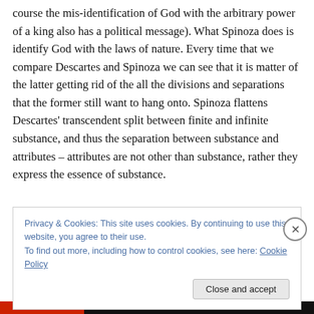course the mis-identification of God with the arbitrary power of a king also has a political message). What Spinoza does is identify God with the laws of nature. Every time that we compare Descartes and Spinoza we can see that it is matter of the latter getting rid of the all the divisions and separations that the former still want to hang onto. Spinoza flattens Descartes' transcendent split between finite and infinite substance, and thus the separation between substance and attributes – attributes are not other than substance, rather they express the essence of substance.
Privacy & Cookies: This site uses cookies. By continuing to use this website, you agree to their use.
To find out more, including how to control cookies, see here: Cookie Policy
Close and accept